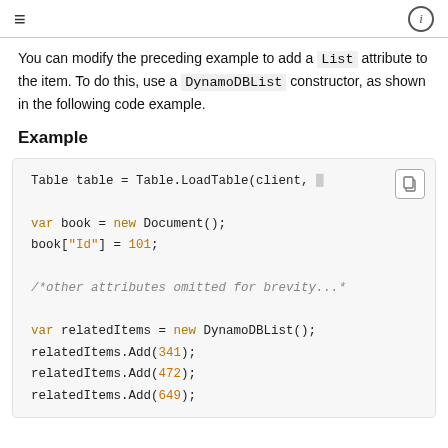≡  ⓘ
You can modify the preceding example to add a List attribute to the item. To do this, use a DynamoDBList constructor, as shown in the following code example.
Example
[Figure (screenshot): Code block showing: Table table = Table.LoadTable(client, ...
var book = new Document();
book["Id"] = 101;
/*other attributes omitted for brevity...*
var relatedItems = new DynamoDBList();
relatedItems.Add(341);
relatedItems.Add(472);
relatedItems.Add(649);]